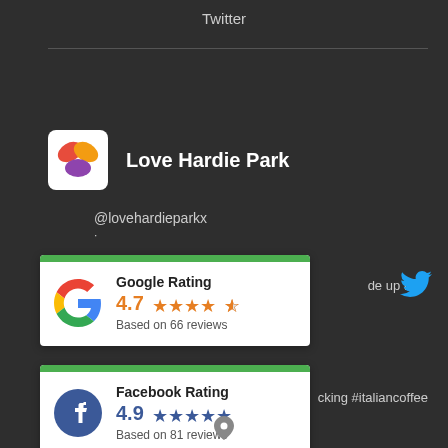Twitter
Love Hardie Park
@lovehardieparkx
[Figure (infographic): Google Rating card showing 4.7 stars based on 66 reviews with Google G logo and green top bar]
de up this
[Figure (infographic): Facebook Rating card showing 4.9 stars based on 81 reviews with Facebook F logo and green top bar]
cking #italiancoffee